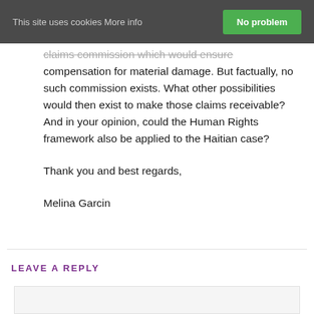This site uses cookies More info  No problem
claims commission which would ensure compensation for material damage. But factually, no such commission exists. What other possibilities would then exist to make those claims receivable? And in your opinion, could the Human Rights framework also be applied to the Haitian case?
Thank you and best regards,
Melina Garcin
LEAVE A REPLY